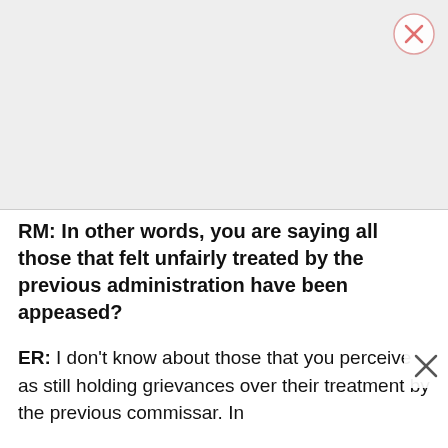[Figure (other): Gray rectangular image placeholder area with a close (X) button in the top-right corner]
RM: In other words, you are saying all those that felt unfairly treated by the previous administration have been appeased?
ER: I don't know about those that you perceive as still holding grievances over their treatment by the previous commissar. In